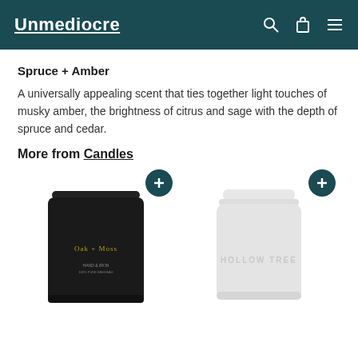Unmediocre
Spruce + Amber
A universally appealing scent that ties together light touches of musky amber, the brightness of citrus and sage with the depth of spruce and cedar.
More from Candles
[Figure (photo): Black candle jar labeled 'Oak + Moss' with gold text and small brand text at bottom]
[Figure (photo): White matte ceramic candle jar labeled 'HOLLOW TREE' in embossed text]